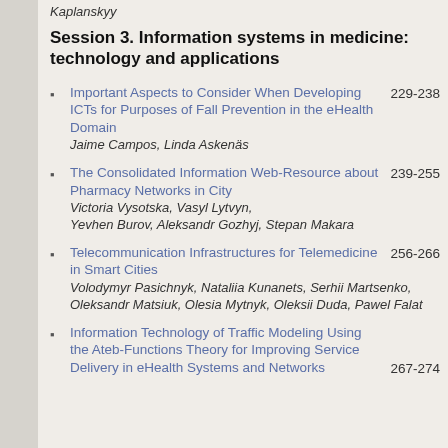Kaplanskyy
Session 3. Information systems in medicine: technology and applications
Important Aspects to Consider When Developing ICTs for Purposes of Fall Prevention in the eHealth Domain 229-238
Jaime Campos, Linda Askenäs
The Consolidated Information Web-Resource about Pharmacy Networks in City 239-255
Victoria Vysotska, Vasyl Lytvyn, Yevhen Burov, Aleksandr Gozhyj, Stepan Makara
Telecommunication Infrastructures for Telemedicine in Smart Cities 256-266
Volodymyr Pasichnyk, Nataliia Kunanets, Serhii Martsenko, Oleksandr Matsiuk, Olesia Mytnyk, Oleksii Duda, Pawel Falat
Information Technology of Traffic Modeling Using the Ateb-Functions Theory for Improving Service Delivery in eHealth Systems and Networks 267-274